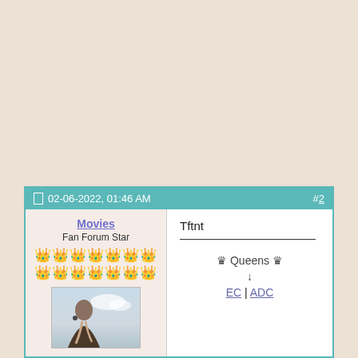| 02-06-2022, 01:46 AM | #2 |
| --- | --- |
| Movies
Fan Forum Star
[crowns]
[avatar] | Tftnt
___
♛Queens♛
↓
EC | ADC |